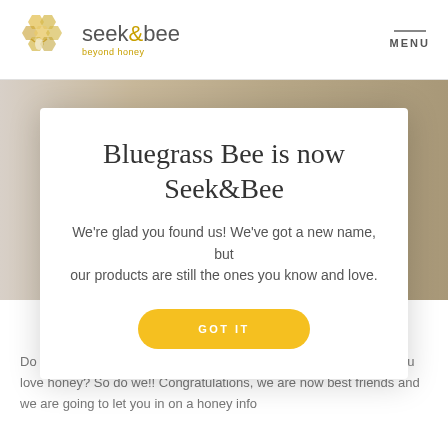seek&bee beyond honey — MENU
[Figure (screenshot): Faded background photo of honey-related imagery]
Bluegrass Bee is now Seek&Bee
We're glad you found us! We've got a new name, but our products are still the ones you know and love.
GOT IT
POSTED 06.12.2017
Do you prefer to buy organic whenever possible? So do we! And you love honey? So do we!! Congratulations, we are now best friends and we are going to let you in on a honey info